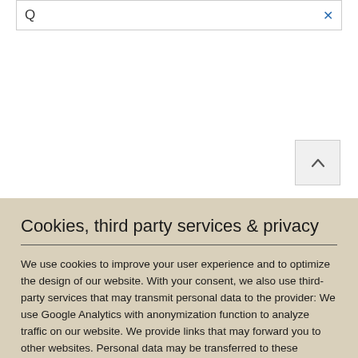[Figure (screenshot): Search bar with letter Q and close X button]
Cookies, third party services & privacy
We use cookies to improve your user experience and to optimize the design of our website. With your consent, we also use third-party services that may transmit personal data to the provider: We use Google Analytics with anonymization function to analyze traffic on our website. We provide links that may forward you to other websites. Personal data may be transferred to these providers in the process. Please click here for our privacy policy.